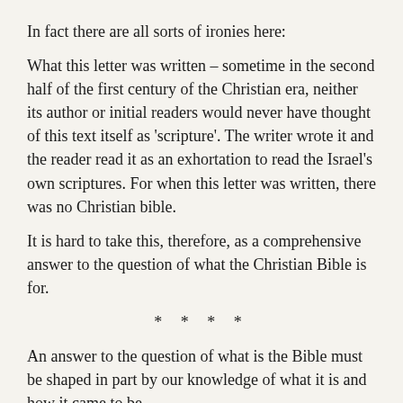In fact there are all sorts of ironies here:
What this letter was written – sometime in the second half of the first century of the Christian era, neither its author or initial readers would never have thought of this text itself as 'scripture'. The writer wrote it and the reader read it as an exhortation to read the Israel's own scriptures. For when this letter was written, there was no Christian bible.
It is hard to take this, therefore, as a comprehensive answer to the question of what the Christian Bible is for.
* * * *
An answer to the question of what is the Bible must be shaped in part by our knowledge of what it is and how it came to be.
So, a few facts and figures, and a plea that you put aside Dan Brown's DaVinci Code explanation of the Bible as an imposition on the church by the 4th century Roman emperor Constantine.